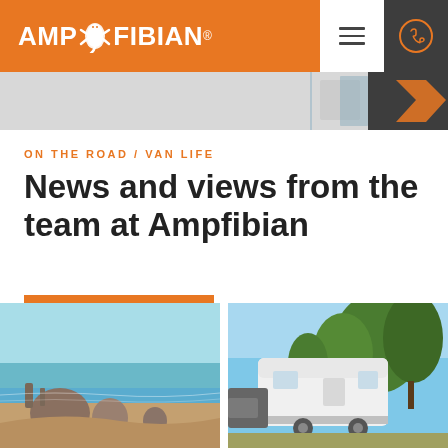AMPFIBIAN® [logo with navigation menu and phone icon]
[Figure (photo): Partial hero image strip showing blue arrow and orange decorative element on light background]
ON THE ROAD / VAN LIFE
News and views from the team at Ampfibian
VIEW ALL
[Figure (photo): Coastal cliff scenery with rock formations and ocean waves, blue sky]
[Figure (photo): White caravan/trailer parked among green pine trees on a sunny day]